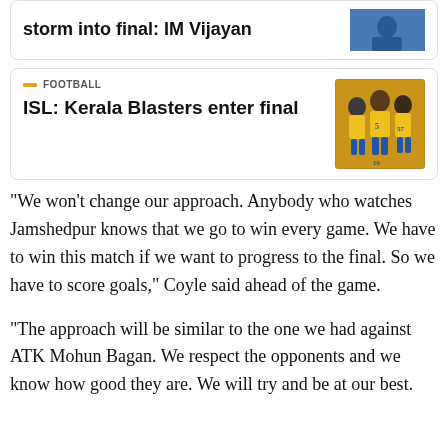storm into final: IM Vijayan
FOOTBALL
ISL: Kerala Blasters enter final
"We won't change our approach. Anybody who watches Jamshedpur knows that we go to win every game. We have to win this match if we want to progress to the final. So we have to score goals," Coyle said ahead of the game.
"The approach will be similar to the one we had against ATK Mohun Bagan. We respect the opponents and we know how good they are. We will try and be at our best.